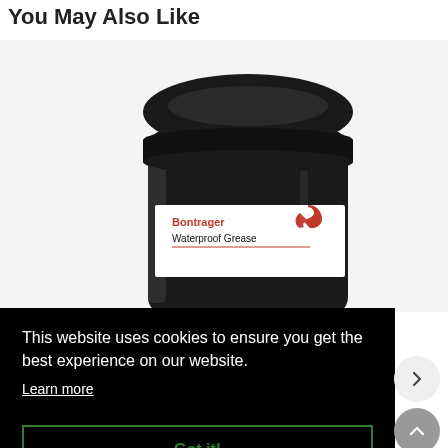You May Also Like
[Figure (photo): A black jar of Bontrager Waterproof Grease with a white label showing the Bontrager brand logo in red and the product name in black text.]
This website uses cookies to ensure you get the best experience on our website.
Learn more
Got it!
Grease